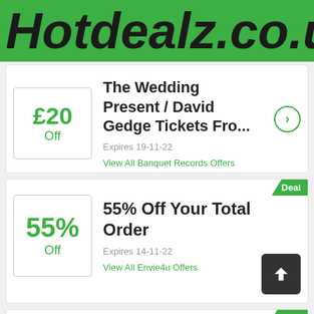Hotdealz.co.uk
£20 Off — The Wedding Present / David Gedge Tickets Fro... — Expires 19-11-22 — View All Banquet Records Offers
Deal — 55% Off — 55% Off Your Total Order — Expires 14-11-22 — View All Envie4u Offers
Deal